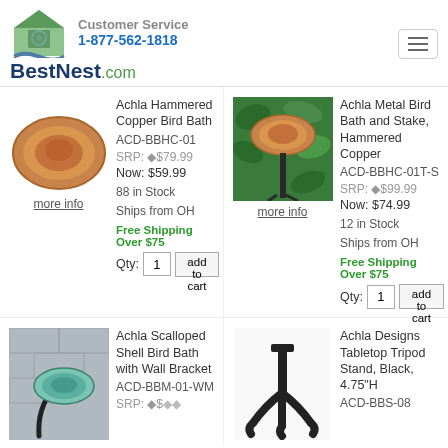Customer Service 1-877-562-1818 BestNest.com
[Figure (photo): Achla Hammered Copper Bird Bath product image]
Achla Hammered Copper Bird Bath
ACD-BBHC-01
SRP: $79.99
Now: $59.99
88 in Stock
Ships from OH
Free Shipping Over $75
Qty: 1  add to cart
[Figure (photo): Achla Metal Bird Bath and Stake outdoors with green foliage background]
Achla Metal Bird Bath and Stake, Hammered Copper
ACD-BBHC-01T-S
SRP: $99.99
Now: $74.99
12 in Stock
Ships from OH
Free Shipping Over $75
Qty: 1  add to cart
[Figure (photo): Achla Scalloped Shell Bird Bath with Wall Bracket mounted on wall]
Achla Scalloped Shell Bird Bath with Wall Bracket
ACD-BBM-01-WM
[Figure (photo): Achla Designs Tabletop Tripod Stand, Black]
Achla Designs Tabletop Tripod Stand, Black, 4.75"H
ACD-BBS-08